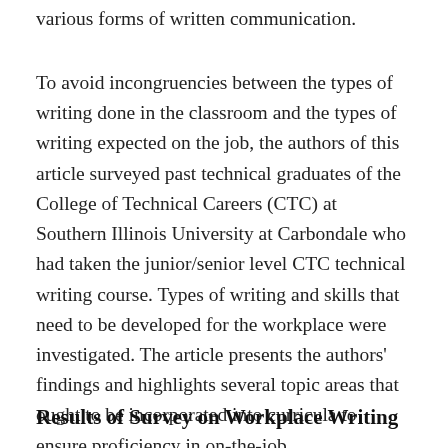various forms of written communication.
To avoid incongruencies between the types of writing done in the classroom and the types of writing expected on the job, the authors of this article surveyed past technical graduates of the College of Technical Careers (CTC) at Southern Illinois University at Carbondale who had taken the junior/senior level CTC technical writing course. Types of writing and skills that need to be developed for the workplace were investigated. The article presents the authors' findings and highlights several topic areas that ought to be incorporated into curricula to ensure proficiency in on-the-job communication skills.
Results of Survey on Workplace Writing